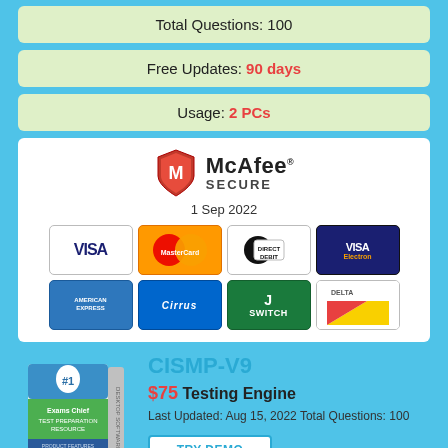Total Questions: 100
Free Updates: 90 days
Usage: 2 PCs
[Figure (logo): McAfee SECURE logo with shield, date 1 Sep 2022, and payment card icons including Visa, MasterCard, Direct Debit, Visa Electron, American Express, Cirrus, Switch, Delta]
[Figure (illustration): Exams Chief #1 Test Preparation Resource product box software image]
CISMP-V9
$75 Testing Engine
Last Updated: Aug 15, 2022 Total Questions: 100
TRY DEMO
Add To Cart